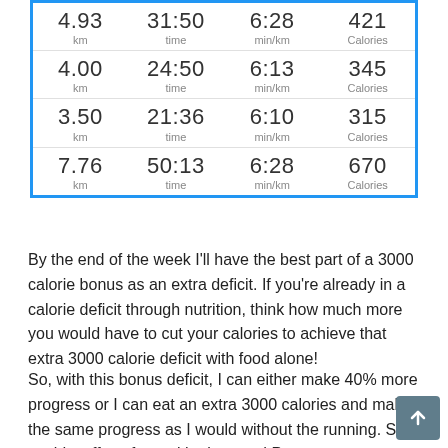| Distance | Time | Pace | Calories |
| --- | --- | --- | --- |
| 4.93 km | 31:50 time | 6:28 min/km | 421 Calories |
| 4.00 km | 24:50 time | 6:13 min/km | 345 Calories |
| 3.50 km | 21:36 time | 6:10 min/km | 315 Calories |
| 7.76 km | 50:13 time | 6:28 min/km | 670 Calories |
By the end of the week I'll have the best part of a 3000 calorie bonus as an extra deficit. If you're already in a calorie deficit through nutrition, think how much more you would have to cut your calories to achieve that extra 3000 calorie deficit with food alone!
So, with this bonus deficit, I can either make 40% more progress or I can eat an extra 3000 calories and make the same progress as I would without the running. So I could stuff my face with pizza and Prosecco on Saturday without it